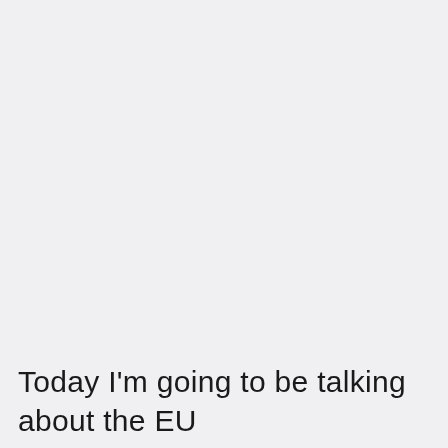Today I'm going to be talking about the EU